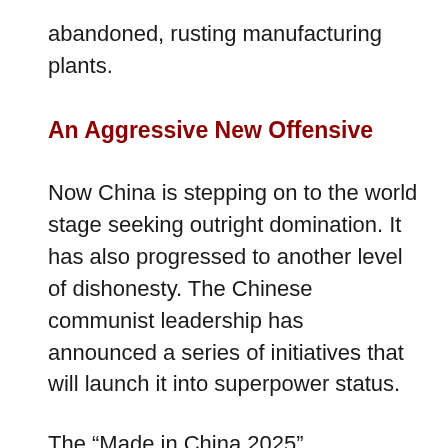abandoned, rusting manufacturing plants.
An Aggressive New Offensive
Now China is stepping on to the world stage seeking outright domination. It has also progressed to another level of dishonesty. The Chinese communist leadership has announced a series of initiatives that will launch it into superpower status.
The “Made in China 2025” modernization plan calls for government subsidies so that Chinese industry can control and set the standards for new generations of technological advances now being introduced in artificial intelligence,